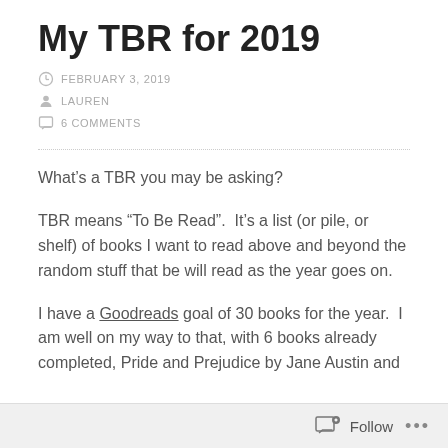My TBR for 2019
FEBRUARY 3, 2019
LAUREN
6 COMMENTS
What’s a TBR you may be asking?
TBR means “To Be Read”.  It’s a list (or pile, or shelf) of books I want to read above and beyond the random stuff that be will read as the year goes on.
I have a Goodreads goal of 30 books for the year.  I am well on my way to that, with 6 books already completed, Pride and Prejudice by Jane Austin and
Follow